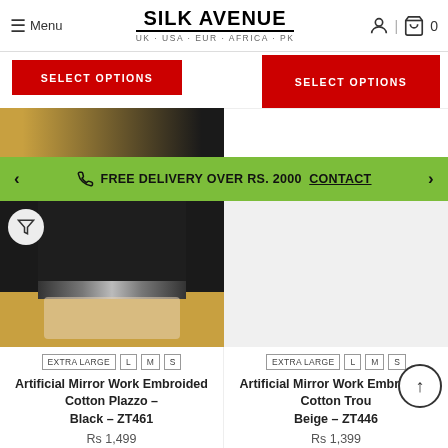SILK AVENUE — UK · USA · EUR · AFRICA · PK
SELECT OPTIONS
SELECT OPTIONS
FREE DELIVERY OVER RS. 2000  CONTACT
[Figure (photo): Photo of black embroidered cotton plazzo pants with sequin hem detail, shown with white sandals on a wooden floor]
EXTRA LARGE  L  M  S
Artificial Mirror Work Embroided Cotton Plazzo – Black – ZT461
Rs 1,499
[Figure (photo): Product image area for Artificial Mirror Work Embroided Cotton Trouser Beige – ZT446]
EXTRA LARGE  L  M  S
Artificial Mirror Work Embroided Cotton Trou Beige – ZT446
Rs 1,399